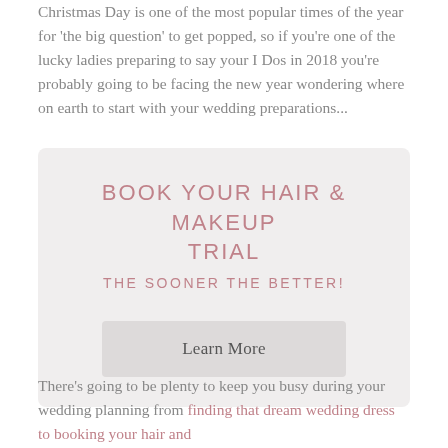Christmas Day is one of the most popular times of the year for 'the big question' to get popped, so if you're one of the lucky ladies preparing to say your I Dos in 2018 you're probably going to be facing the new year wondering where on earth to start with your wedding preparations...
[Figure (infographic): Callout box with light gray background containing the text 'BOOK YOUR HAIR & MAKEUP TRIAL' and 'THE SOONER THE BETTER!' in pink uppercase letters, and a 'Learn More' button below.]
There's going to be plenty to keep you busy during your wedding planning from finding that dream wedding dress to booking your hair and makeup trial for the month ahead...